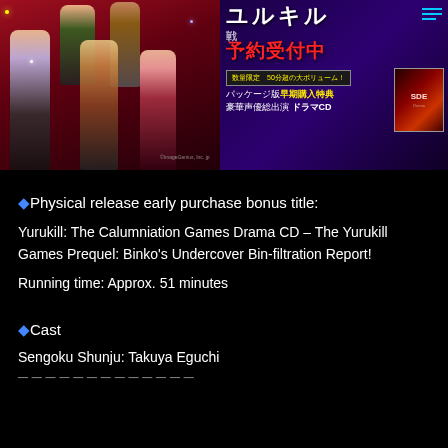[Figure (illustration): Anime-style promotional banner for Yurukill: The Calumniation Games. Left side shows illustrated anime characters against a red/dark background. Right side has purple/dark background with Japanese text title, '予約受付中' (Reservations Accepted), package bonus drama CD info, and a small CD cover image. Hamburger menu icon in top right.]
◆Physical release early purchase bonus title:
Yurukill: The Calumniation Games Drama CD – The Yurukill Games Prequel: Binko's Undercover Bin-filtration Report!
Running time: Approx. 51 minutes
◆Cast
Sengoku Shunju: Takuya Eguchi